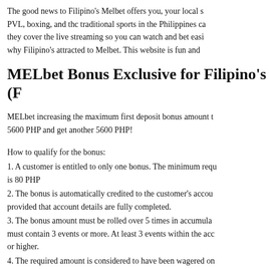The good news to Filipino's Melbet offers you, your local s PVL, boxing, and thc traditional sports in the Philippines c they cover the live streaming so you can watch and bet easi why Filipino's attracted to Melbet. This website is fun and
MELbet Bonus Exclusive for Filipino's (F
MELbet increasing the maximum first deposit bonus amount t 5600 PHP and get another 5600 PHP!
How to qualify for the bonus:
1. A customer is entitled to only one bonus. The minimum req is 80 PHP
2. The bonus is automatically credited to the customer's accou provided that account details are fully completed.
3. The bonus amount must be rolled over 5 times in accumula must contain 3 events or more. At least 3 events within the acc or higher.
4. The required amount is considered to have been wagered on